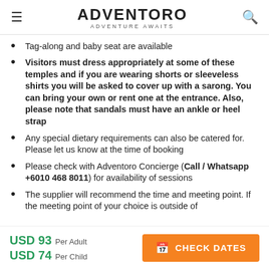ADVENTORO — ADVENTURE AWAITS
Tag-along and baby seat are available
Visitors must dress appropriately at some of these temples and if you are wearing shorts or sleeveless shirts you will be asked to cover up with a sarong. You can bring your own or rent one at the entrance. Also, please note that sandals must have an ankle or heel strap
Any special dietary requirements can also be catered for. Please let us know at the time of booking
Please check with Adventoro Concierge (Call / Whatsapp +6010 468 8011) for availability of sessions
The supplier will recommend the time and meeting point. If the meeting point of your choice is outside of
USD 93 Per Adult  USD 74 Per Child  CHECK DATES